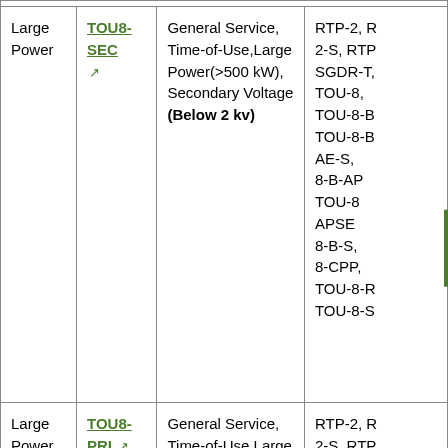| Category | Rate Schedule | Description | Related Schedules |
| --- | --- | --- | --- |
| Large Power | TOU8-SEC | General Service, Time-of-Use,Large Power(>500 kW), Secondary Voltage (Below 2 kv) | RTP-2, R 2-S, RTP SGDR-T, TOU-8, TOU-8-B TOU-8-B AE-S, 8-B-AP TOU-8 APSE 8-B-S, 8-CPP, TOU-8-R TOU-8-S |
| Large Power | TOU8-PRI | General Service, Time-of-Use,Large Power (>500 kW), Primary Voltage (2 kv | RTP-2, R 2-S, RTP SGDR-T, TOU-8, |